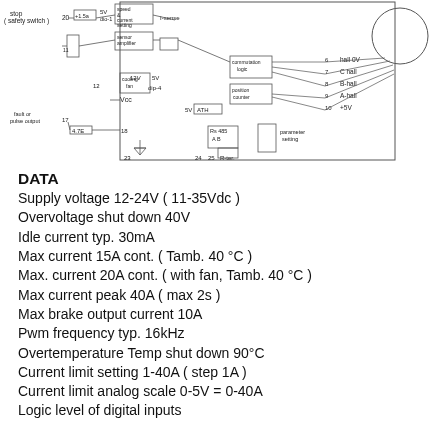TECHNICAL
[Figure (circuit-diagram): Motor controller circuit diagram showing connections including stop/safety switch, current setting, sensor amplifier, commutation logic, position counter, RS485, hall sensors (hall 0V, C-hall, B-hall, A-hall, +5V), RS485 A/B terminals, parameter setting, fault/pulse output, cooling fan, Vcc, and various numbered connectors (6,7,8,9,10,11,12,16,17,18,20,23,24,25).]
DATA
Supply voltage 12-24V ( 11-35Vdc )
Overvoltage shut down 40V
Idle current typ. 30mA
Max current 15A cont. ( Tamb. 40 °C )
Max. current 20A cont. ( with fan, Tamb. 40 °C )
Max current peak 40A ( max 2s )
Max brake output current 10A
Pwm frequency typ. 16kHz
Overtemperature Temp shut down 90°C
Current limit setting 1-40A ( step 1A )
Current limit analog scale 0-5V = 0-40A
Logic level of digital inputs